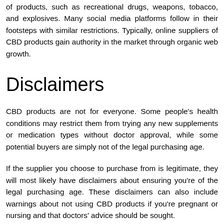Search engines like Google don't allow you to promote a range of products, such as recreational drugs, weapons, tobacco, and explosives. Many social media platforms follow in their footsteps with similar restrictions. Typically, online suppliers of CBD products gain authority in the market through organic web growth.
Disclaimers
CBD products are not for everyone. Some people's health conditions may restrict them from trying any new supplements or medication types without doctor approval, while some potential buyers are simply not of the legal purchasing age.
If the supplier you choose to purchase from is legitimate, they will most likely have disclaimers about ensuring you're of the legal purchasing age. These disclaimers can also include warnings about not using CBD products if you're pregnant or nursing and that doctors' advice should be sought.